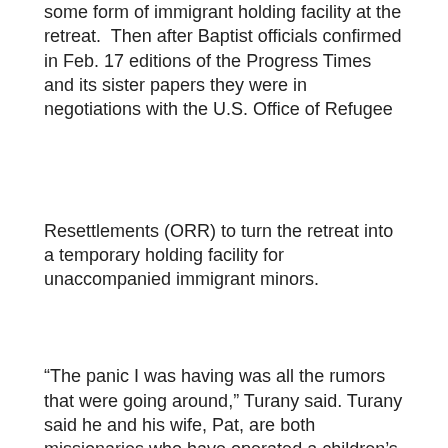some form of immigrant holding facility at the retreat.  Then after Baptist officials confirmed in Feb. 17 editions of the Progress Times and its sister papers they were in negotiations with the U.S. Office of Refugee
Resettlements (ORR) to turn the retreat into a temporary holding facility for unaccompanied immigrant minors.
“The panic I was having was all the rumors that were going around,” Turany said. Turany said he and his wife, Pat, are both missionaries who have operated a children’s home. He said opposition to any change in use at the retreat was over concerns it could negatively impact property values.
“So I don’t want anyone to say, ‘Hey, you’re a bigot.’ I’m talking about we don’t want change in our community. We bought here because of the surrounding community. We already knew what was inside [the retreat], just a bunch of old people.”